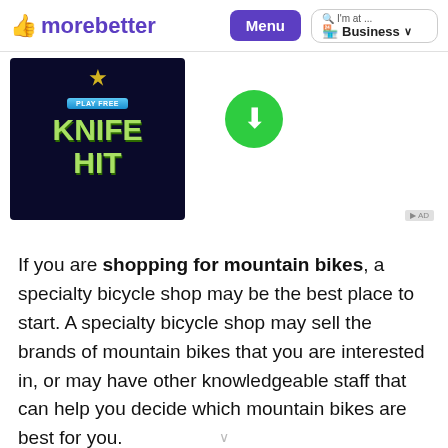morebetter  Menu  I'm at ...  Business
[Figure (screenshot): Advertisement showing a mobile game 'Knife Hit' with 'Play Free' button on dark background, and a green circular download button beside it]
If you are shopping for mountain bikes, a specialty bicycle shop may be the best place to start. A specialty bicycle shop may sell the brands of mountain bikes that you are interested in, or may have other knowledgeable staff that can help you decide which mountain bikes are best for you.
As a beginner, it is best to start with a bike that's appropriate for your level of experience. Bike shops are a